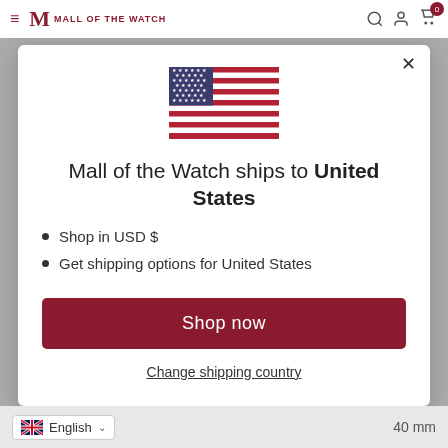Mall of the Watch
[Figure (illustration): US flag SVG illustration]
Mall of the Watch ships to United States
Shop in USD $
Get shipping options for United States
Shop now
Change shipping country
English  40 mm